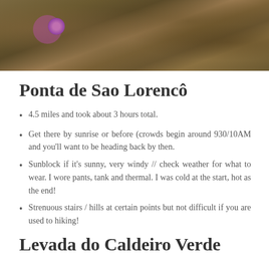[Figure (photo): Close-up photograph of mossy, textured terrain with a purple flower visible at the left side, brownish-green natural surface filling the frame.]
Ponta de Sao Lorenco^
4.5 miles and took about 3 hours total.
Get there by sunrise or before (crowds begin around 930/10AM and you'll want to be heading back by then.
Sunblock if it's sunny, very windy // check weather for what to wear. I wore pants, tank and thermal. I was cold at the start, hot as the end!
Strenuous stairs / hills at certain points but not difficult if you are used to hiking!
Levada do Caldeiro Verde